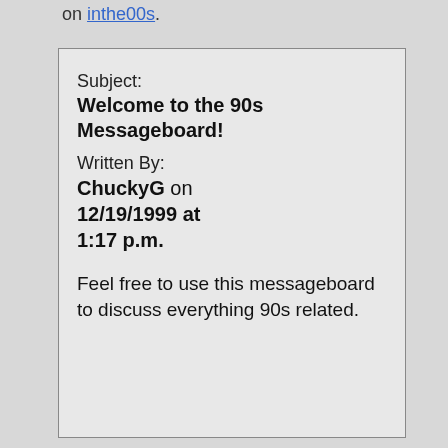on inthe00s.
Subject: Welcome to the 90s Messageboard!
Written By: ChuckyG on 12/19/1999 at 1:17 p.m.
Feel free to use this messageboard to discuss everything 90s related.